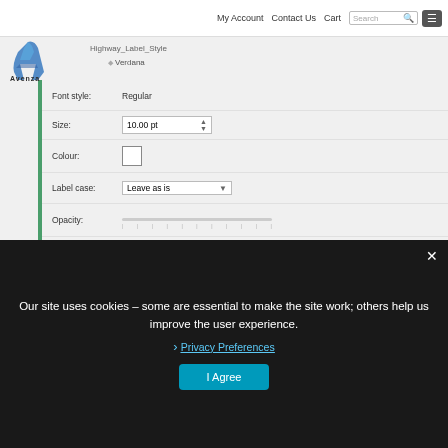My Account  Contact Us  Cart
[Figure (logo): Avenza Systems Inc. logo]
Highway_Label_Style
Verdana
| Font style: | Regular |
| Size: | 10.00 pt |
| Colour: |  |
| Label case: | Leave as is |
| Opacity: |  |
|  | Add halo to label |
| Colour: |  |
Our site uses cookies – some are essential to make the site work; others help us improve the user experience.
› Privacy Preferences
I Agree